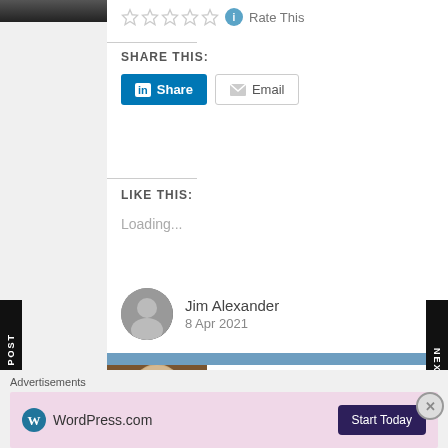[Figure (photo): Top left partial image, dark tones]
Rate This
SHARE THIS:
LinkedIn Share  Email
LIKE THIS:
Loading...
Jim Alexander
8 Apr 2021
HULU ANNOUNCES NEW CAST MEMBERS FOR AMERICAN HIGH'S 'SEX APPEAL'
HULU ANNOUNCES NEW CAST
Advertisements
[Figure (logo): WordPress.com logo with Start Today button]